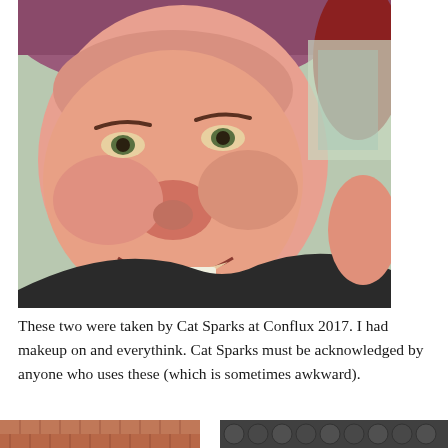[Figure (photo): Close-up selfie photo of a smiling woman wearing a purple/mauve beanie hat, with reddish hair visible, looking slightly upward. She is wearing a dark top. The background shows a car interior and outdoor scenery through the window.]
These two were taken by Cat Sparks at Conflux 2017. I had makeup on and everythink. Cat Sparks must be acknowledged by anyone who uses these (which is sometimes awkward).
[Figure (photo): Two partial photos visible at the bottom of the page. Left photo shows a warm-toned image (brick or similar texture). Right photo shows a darker image with circular/round shapes.]